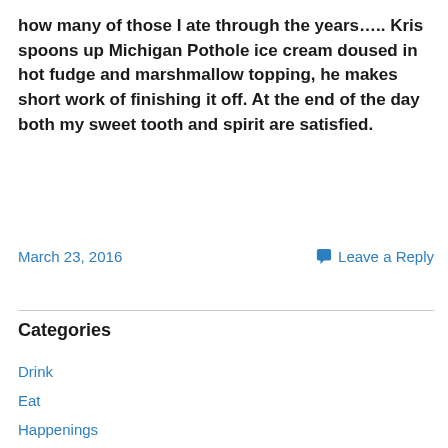how many of those I ate through the years….. Kris spoons up Michigan Pothole ice cream doused in hot fudge and marshmallow topping, he makes short work of finishing it off. At the end of the day both my sweet tooth and spirit are satisfied.
March 23, 2016   Leave a Reply
Categories
Drink
Eat
Happenings
Road Trips